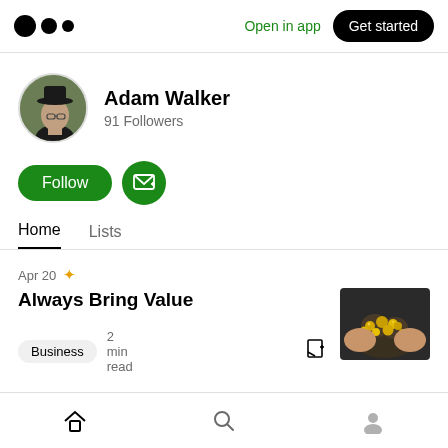Medium logo | Open in app | Get started
Adam Walker
91 Followers
[Figure (illustration): Green Follow button and green subscribe/email button]
Home
Lists
Apr 20 ✦
Always Bring Value
Business  2 min read
[Figure (photo): Hands holding gold nuggets/coins]
Home | Search | Profile navigation icons